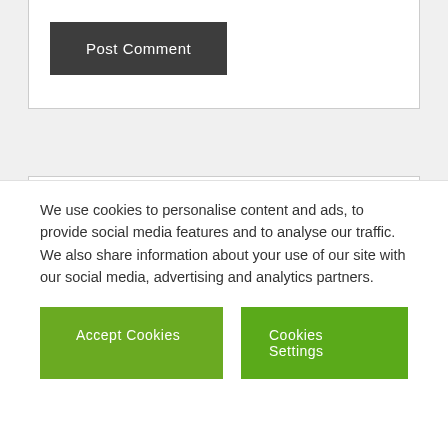Post Comment
Weblog owned by
[Figure (logo): CareerBuilder logo with colorful circular icon and text CAREER BUILDER]
We use cookies to personalise content and ads, to provide social media features and to analyse our traffic. We also share information about your use of our site with our social media, advertising and analytics partners.
Accept Cookies
Cookies Settings